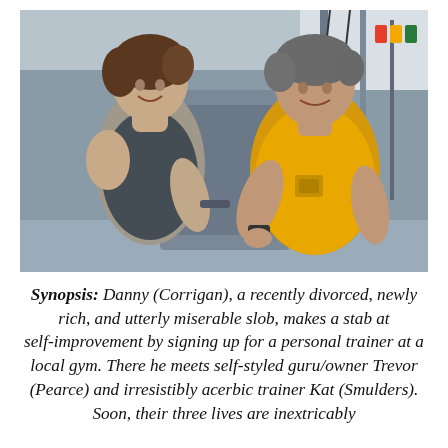[Figure (photo): A woman in a dark sleeveless top and a man in a yellow t-shirt smile at each other in a gym setting with exercise equipment in the background.]
Synopsis: Danny (Corrigan), a recently divorced, newly rich, and utterly miserable slob, makes a stab at self-improvement by signing up for a personal trainer at a local gym. There he meets self-styled guru/owner Trevor (Pearce) and irresistibly acerbic trainer Kat (Smulders). Soon, their three lives are inextricably